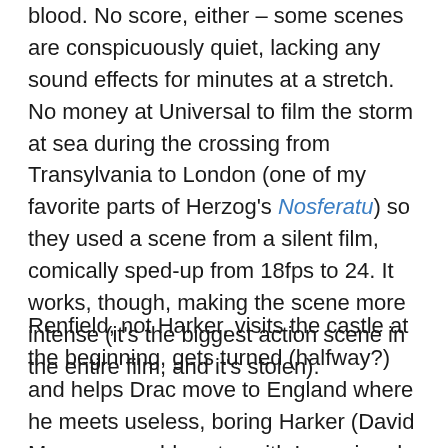blood. No score, either – some scenes are conspicuously quiet, lacking any sound effects for minutes at a stretch. No money at Universal to film the storm at sea during the crossing from Transylvania to London (one of my favorite parts of Herzog's Nosferatu) so they used a scene from a silent film, comically sped-up from 18fps to 24. It works, though, making the scene more intense (it's the biggest action scene in the entire film, and it's stolen).
Renfield, not Harker, visits the castle at the beginning, gets turned (halfway?) and helps Drac move to England where he meets useless, boring Harker (David Manners would costar with Lugosi and Karloff in The Black Cat) and his girlfriend Mina, along with Mina's dad and friend (?) Lucy. He goes about his business draining blood from the girls until family friend Van Helsing (Edward Van Sloan, who appeared in